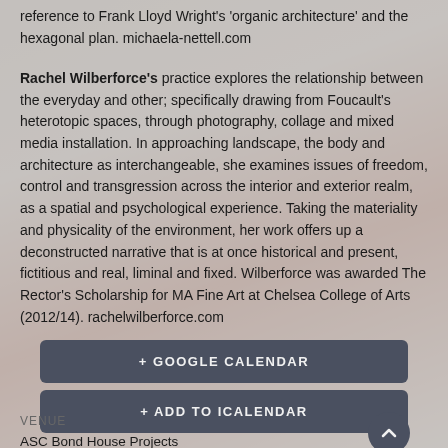reference to Frank Lloyd Wright's 'organic architecture' and the hexagonal plan. michaela-nettell.com
Rachel Wilberforce's practice explores the relationship between the everyday and other; specifically drawing from Foucault's heterotopic spaces, through photography, collage and mixed media installation. In approaching landscape, the body and architecture as interchangeable, she examines issues of freedom, control and transgression across the interior and exterior realm, as a spatial and psychological experience. Taking the materiality and physicality of the environment, her work offers up a deconstructed narrative that is at once historical and present, fictitious and real, liminal and fixed. Wilberforce was awarded The Rector's Scholarship for MA Fine Art at Chelsea College of Arts (2012/14). rachelwilberforce.com
+ GOOGLE CALENDAR
+ ADD TO ICALENDAR
VENUE
ASC Bond House Projects
Bond House Gallery, 20-32 Goodwood Road